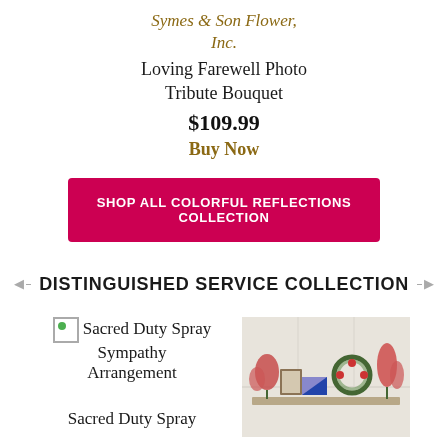Symes & Son Flower, Inc.
Loving Farewell Photo Tribute Bouquet
$109.99
Buy Now
SHOP ALL COLORFUL REFLECTIONS COLLECTION
DISTINGUISHED SERVICE COLLECTION
Sacred Duty Spray Sympathy Arrangement
Sacred Duty Spray
[Figure (photo): Photo of a funeral flower arrangement display with patriotic elements including a folded flag, flowers, and a wreath in a room with white wall panels.]